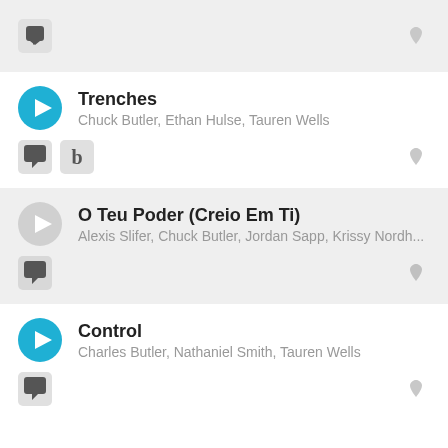[Figure (screenshot): Partial song row at top with comment icon and heart icon on gray background]
Trenches
Chuck Butler, Ethan Hulse, Tauren Wells
[Figure (screenshot): Action row with comment icon, bandsintown icon, and heart icon]
O Teu Poder (Creio Em Ti)
Alexis Slifer, Chuck Butler, Jordan Sapp, Krissy Nordh...
[Figure (screenshot): Action row with comment icon and heart icon on gray background]
Control
Charles Butler, Nathaniel Smith, Tauren Wells
[Figure (screenshot): Action row with comment icon and heart icon]